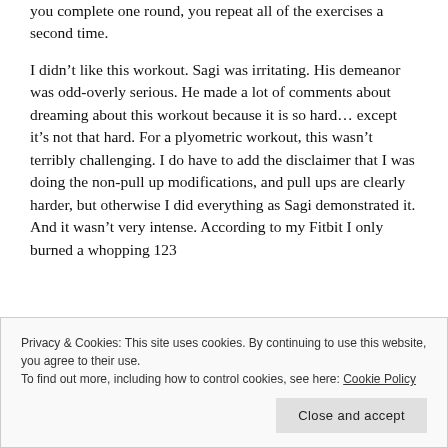you complete one round, you repeat all of the exercises a second time.
I didn't like this workout. Sagi was irritating. His demeanor was odd-overly serious. He made a lot of comments about dreaming about this workout because it is so hard… except it's not that hard. For a plyometric workout, this wasn't terribly challenging. I do have to add the disclaimer that I was doing the non-pull up modifications, and pull ups are clearly harder, but otherwise I did everything as Sagi demonstrated it. And it wasn't very intense. According to my Fitbit I only burned a whopping 123
Privacy & Cookies: This site uses cookies. By continuing to use this website, you agree to their use.
To find out more, including how to control cookies, see here: Cookie Policy
Close and accept